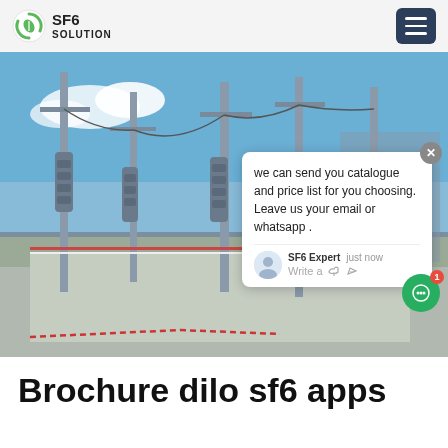SF6 SOLUTION
[Figure (photo): Outdoor high-voltage electrical substation with tall steel poles, insulators, and power lines against a blue sky. A chat popup overlay is visible in the lower right corner of the image, with a message from SF6 Expert reading: 'we can send you catalogue and price list for you choosing. Leave us your email or whatsapp.' and a green chat button with a notification badge showing '1'.]
Brochure dilo sf6 apps